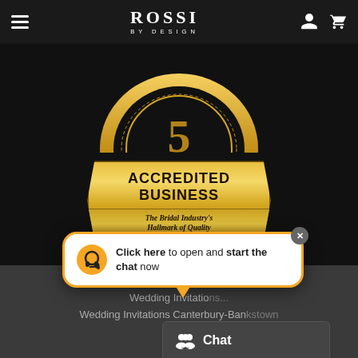ROSSI BY DESIGN — Navigation bar with hamburger menu, brand logo, user icon, cart icon
[Figure (logo): Accredited Business badge — gold shield/banner with text 'ACCREDITED BUSINESS' and subtitle 'The Bridal Industry's Hallmark of Quality', set on black background]
Wedding Invitations Formally...
Wedding Invitations...
Wedding Invitations Canterbury-Bankstown
[Figure (screenshot): Chat popup bubble saying: Click here to open and start the chat now, with headset icon and orange border. Close X button top right.]
Chat